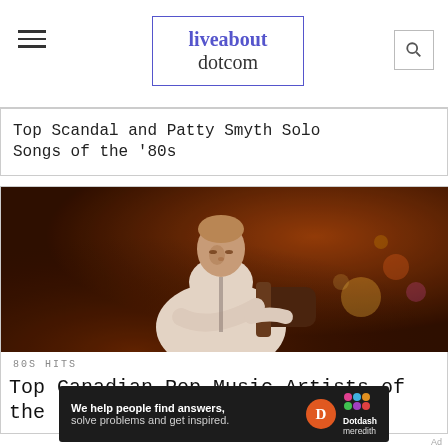liveabout dotcom
Top Scandal and Patty Smyth Solo Songs of the '80s
[Figure (photo): A musician in a white hoodie playing guitar on stage under warm stage lighting with colorful bokeh in the background.]
80S HITS
Top Canadian Pop Music Artists of the '80s
Ad  We help people find answers, solve problems and get inspired. Dotdash meredith